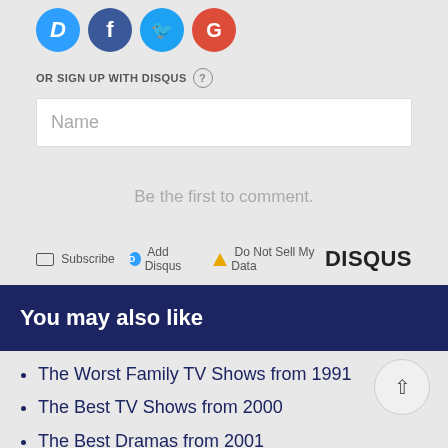[Figure (logo): Social sign-in icons: Disqus (blue D), Facebook (dark blue f), Twitter (light blue bird), Google (red G)]
OR SIGN UP WITH DISQUS ?
Name
Be the first to comment.
Subscribe  Add Disqus  Do Not Sell My Data  DISQUS
You may also like
The Worst Family TV Shows from 1991
The Best TV Shows from 2000
The Best Dramas from 2001